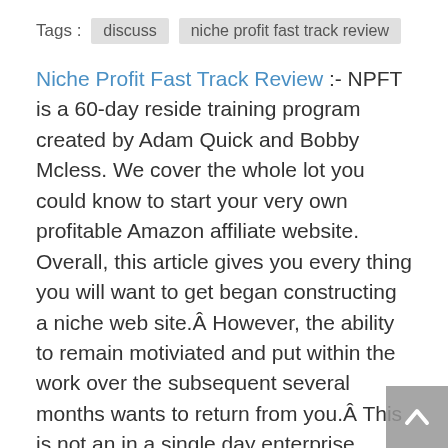Tags :  discuss   niche profit fast track review
Niche Profit Fast Track Review :- NPFT is a 60-day reside training program created by Adam Quick and Bobby Mcless. We cover the whole lot you could know to start your very own profitable Amazon affiliate website. Overall, this article gives you every thing you will want to get began constructing a niche web site.Â However, the ability to remain motiviated and put within the work over the subsequent several months wants to return from you.Â This is not an in a single day enterprise, however it can be a very actual one.
Niche Profit Classroom comes with totally different sources,tools and software program which is able to assist you during building your niche sites. Niche